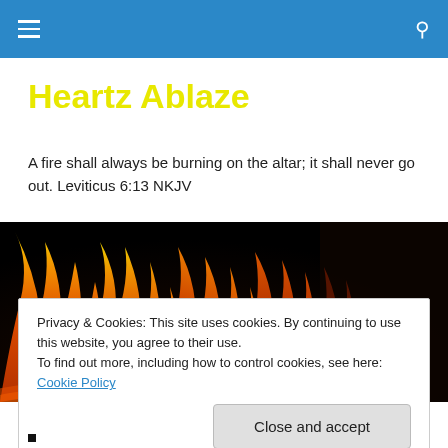Heartz Ablaze – navigation header with hamburger menu and search icon
Heartz Ablaze
A fire shall always be burning on the altar; it shall never go out. Leviticus 6:13 NKJV
[Figure (photo): Close-up photograph of orange and red flames against a dark/black background]
Privacy & Cookies: This site uses cookies. By continuing to use this website, you agree to their use.
To find out more, including how to control cookies, see here: Cookie Policy
[Close and accept button]